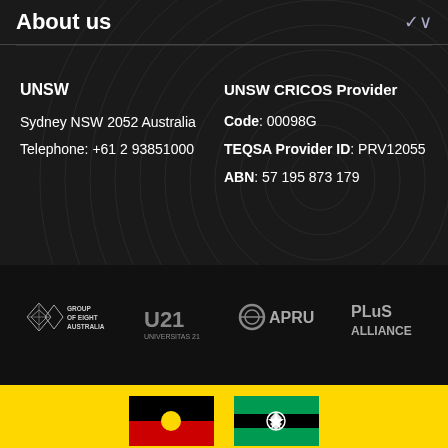About us
UNSW
Sydney NSW 2052 Australia
Telephone: +61 2 93851000
UNSW CRICOS Provider
Code: 00098G
TEQSA Provider ID: PRV12055
ABN: 57 195 873 179
[Figure (logo): Group of Eight Australia logo, U21 Universitas 21 logo, APRU logo, PLuS Alliance logo]
[Figure (illustration): Aboriginal flag and Torres Strait Islander flag]